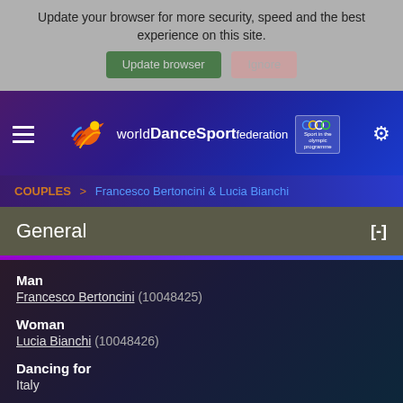Update your browser for more security, speed and the best experience on this site.
[Figure (screenshot): Two buttons: 'Update browser' (green) and 'Ignore' (pink/muted)]
[Figure (logo): World DanceSport Federation logo with Olympic rings badge]
COUPLES > Francesco Bertoncini & Lucia Bianchi
General [-]
Man
Francesco Bertoncini (10048425)
Woman
Lucia Bianchi (10048426)
Dancing for
Italy
Joined on
01 January 2010
Current age group